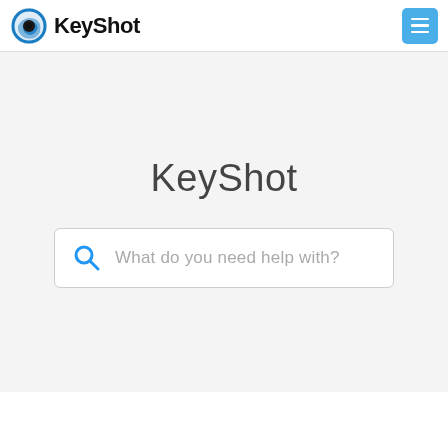KeyShot
KeyShot
What do you need help with?